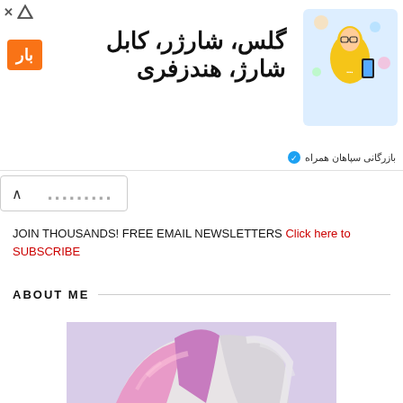[Figure (infographic): Advertisement banner in Farsi/Persian with orange badge labeled 'بار', text reading 'گلس، شارژر، کابل شارژ، هندزفری', and an illustration of a person in yellow shirt with electronic accessories. Sponsor label 'بازرگانی سپاهان همراه' at bottom right. Small X and triangle icons at top left.]
JOIN THOUSANDS! FREE EMAIL NEWSLETTERS Click here to SUBSCRIBE
ABOUT ME
[Figure (photo): Close-up photo of a person with multi-colored hair (pink, purple, white/grey), showing top of head and face partially, against a blurred background.]